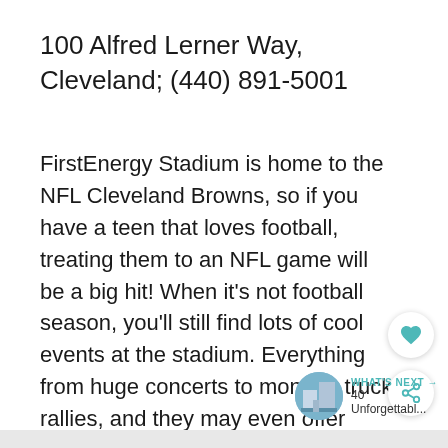100 Alfred Lerner Way, Cleveland; (440) 891-5001
FirstEnergy Stadium is home to the NFL Cleveland Browns, so if you have a teen that loves football, treating them to an NFL game will be a big hit! When it’s not football season, you’ll still find lots of cool events at the stadium. Everything from huge concerts to monster truck rallies, and they may even offer tours when there are no other events going on.